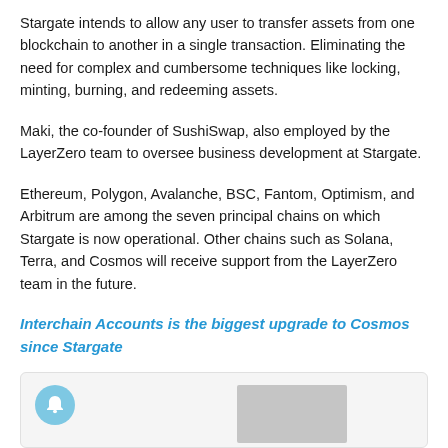Stargate intends to allow any user to transfer assets from one blockchain to another in a single transaction. Eliminating the need for complex and cumbersome techniques like locking, minting, burning, and redeeming assets.
Maki, the co-founder of SushiSwap, also employed by the LayerZero team to oversee business development at Stargate.
Ethereum, Polygon, Avalanche, BSC, Fantom, Optimism, and Arbitrum are among the seven principal chains on which Stargate is now operational. Other chains such as Solana, Terra, and Cosmos will receive support from the LayerZero team in the future.
Interchain Accounts is the biggest upgrade to Cosmos since Stargate
[Figure (other): Card element with a blue bell/notification icon circle on the left and a gray placeholder image in the center-right area]